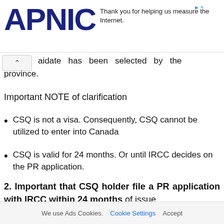APNIC — Thank you for helping us measure the Internet.
…aidate has been selected by the province.
Important NOTE of clarification
CSQ is not a visa. Consequently, CSQ cannot be utilized to enter into Canada
CSQ is valid for 24 months. Or until IRCC decides on the PR application.
2. Important that CSQ holder file a PR application with IRCC within 24 months of issue.
We use Ads Cookies.  Cookie Settings  Accept